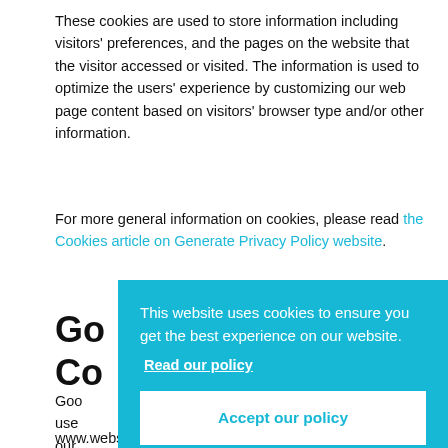These cookies are used to store information including visitors' preferences, and the pages on the website that the visitor accessed or visited. The information is used to optimize the users' experience by customizing our web page content based on visitors' browser type and/or other information.
For more general information on cookies, please read the Cookies article on Generate Privacy Policy website.
Go... Co...
Goo... use... our... www.website.com and other sites on the internet
[Figure (screenshot): Cookie consent banner overlay with cyan/teal background reading: 'This website uses cookies to ensure you get the best experience on our website.' with a 'Read our policy' link and an 'Accept our policy' button.]